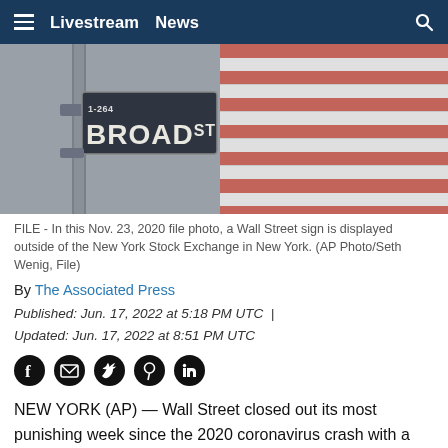≡  Livestream  News  🔍
[Figure (photo): A Wall Street / Broad Street sign on a pole, with an American flag with red and white stripes blurred in the background]
FILE - In this Nov. 23, 2020 file photo, a Wall Street sign is displayed outside of the New York Stock Exchange in New York. (AP Photo/Seth Wenig, File)
By The Associated Press
Published: Jun. 17, 2022 at 5:18 PM UTC | Updated: Jun. 17, 2022 at 8:51 PM UTC
NEW YORK (AP) — Wall Street closed out its most punishing week since the 2020 coronavirus crash with a meandering day of trading Friday that left it a bit higher.